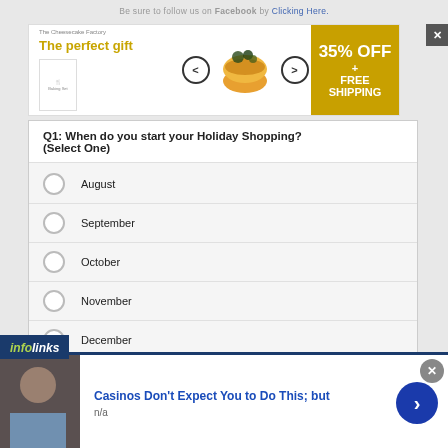Be sure to follow us on Facebook by Clicking Here.
[Figure (screenshot): Advertisement banner for 'The perfect gift' with food product image, navigation arrows, and '35% OFF + FREE SHIPPING' offer in gold]
Q1: When do you start your Holiday Shopping? (Select One)
August
September
October
November
December
ZETA    1 of 4    Next
[Figure (screenshot): Infolinks advertisement bar with an ad: 'Casinos Don't Expect You to Do This; but' with a person photo and navigation arrow]